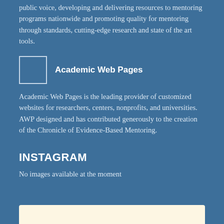public voice, developing and delivering resources to mentoring programs nationwide and promoting quality for mentoring through standards, cutting-edge research and state of the art tools.
[Figure (other): Small square logo placeholder box for Academic Web Pages]
Academic Web Pages
Academic Web Pages is the leading provider of customized websites for researchers, centers, nonprofits, and universities. AWP designed and has contributed generously to the creation of the Chronicle of Evidence-Based Mentoring.
INSTAGRAM
No images available at the moment
[Figure (other): Bottom card/panel with light cream background, partially visible]